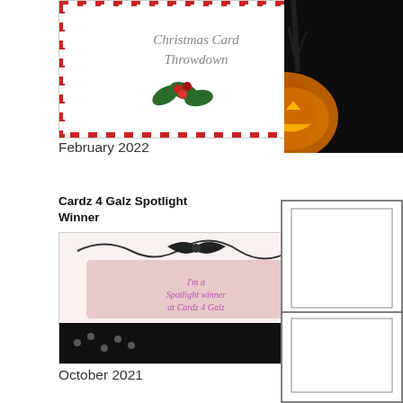[Figure (photo): Christmas Card Throwdown badge with candy cane border, holly leaves, and berries]
February 2022
Cardz 4 Galz Spotlight Winner
[Figure (photo): Cardz 4 Galz spotlight winner badge with decorative black and pink design]
October 2021
The Paper Players Cut Above
[Figure (photo): The Paper Players Cut Above badge with scissors on newspaper background]
[Figure (photo): Halloween pumpkin jack-o-lantern glowing orange against dark background with bare trees]
[Figure (schematic): Card layout template showing three rectangular sections with inner border boxes]